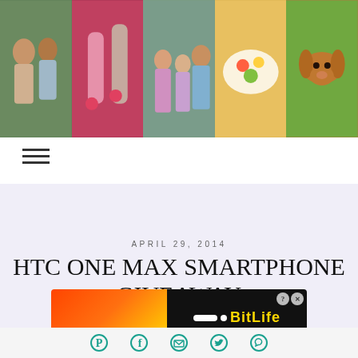[Figure (photo): Header photo strip with five images: couple outdoors, colorful drinks with strawberries, three children, fruit/food bowl, and a dachshund dog]
[Figure (illustration): Hamburger menu icon with three horizontal bars]
[Figure (photo): Lavender/light purple advertisement banner area]
APRIL 29, 2014
HTC ONE MAX SMARTPHONE GIVEAWAY
[Figure (screenshot): BitLife advertisement banner: FAIL text with fire emoji and girl covering face on red/orange background, BitLife logo and START A NEW LIFE text on black right panel]
[Figure (illustration): Social sharing icons bar: Pinterest, Facebook, Email/Envelope, Twitter, WhatsApp]